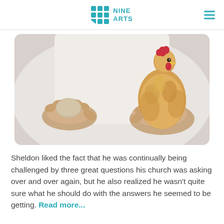NINE ARTS
[Figure (photo): Person in white clothing holding an egg in one hand and a live chicken in the other hand, photographed from chest level]
Sheldon liked the fact that he was continually being challenged by three great questions his church was asking over and over again, but he also realized he wasn't quite sure what he should do with the answers he seemed to be getting. Read more...